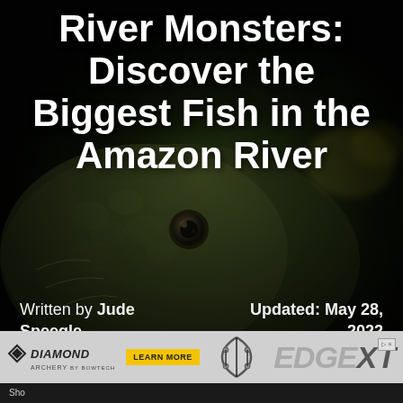[Figure (photo): Close-up dark photo of a large freshwater fish face, presumably an Amazon river fish, with textured scaly skin, prominent eye, and dark olive/green coloring against a dark background]
River Monsters: Discover the Biggest Fish in the Amazon River
Written by Jude Speegle
Updated: May 28, 2022
[Figure (other): Diamond Archery advertisement banner featuring Diamond Archery logo, Learn More button, bow and arrow image, and EDGE XT product branding]